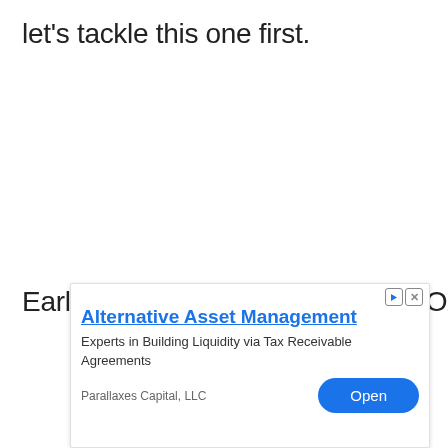let's tackle this one first.
Earlier on, you learned about the Ozone
[Figure (other): Advertisement overlay for 'Alternative Asset Management' by Parallaxes Capital, LLC. Contains ad title in blue, body text 'Experts in Building Liquidity via Tax Receivable Agreements', company name 'Parallaxes Capital, LLC', and a blue 'Open' button. Ad control icons (play/close) in top right corner.]